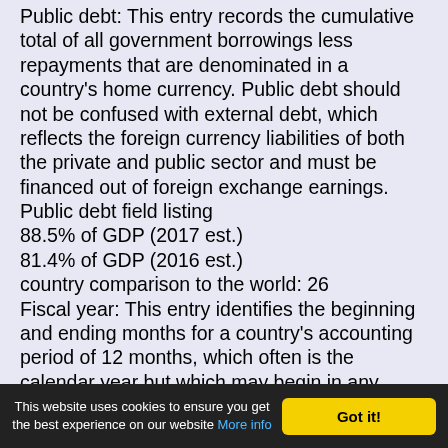Public debt: This entry records the cumulative total of all government borrowings less repayments that are denominated in a country's home currency. Public debt should not be confused with external debt, which reflects the foreign currency liabilities of both the private and public sector and must be financed out of foreign exchange earnings. Public debt field listing
88.5% of GDP (2017 est.)
81.4% of GDP (2016 est.)
country comparison to the world: 26
Fiscal year: This entry identifies the beginning and ending months for a country's accounting period of 12 months, which often is the calendar year but which may begin in any month. All yearly references are for the calendar year (CY) unless indicated as a noncalendar fiscal year
This website uses cookies to ensure you get the best experience on our website More info